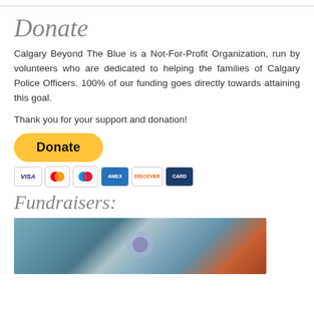Donate
Calgary Beyond The Blue is a Not-For-Profit Organization, run by volunteers who are dedicated to helping the families of Calgary Police Officers. 100% of our funding goes directly towards attaining this goal.
Thank you for your support and donation!
[Figure (other): PayPal Donate button (yellow pill-shaped button with bold text 'Donate') and payment method icons below (Visa, Mastercard, Maestro, American Express, Discover, and another card)]
Fundraisers:
[Figure (photo): Blurred photo with teal/blue background and a faint circular emblem in the center, orange/brown at the bottom right corner]